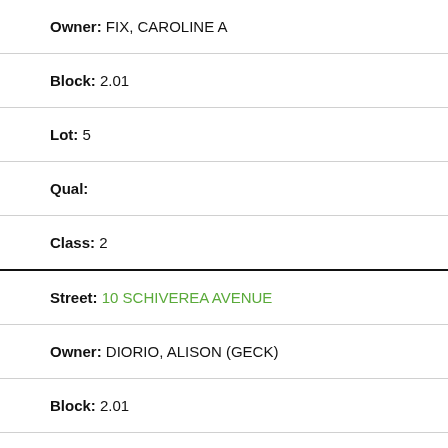Owner: FIX, CAROLINE A
Block: 2.01
Lot: 5
Qual:
Class: 2
Street: 10 SCHIVEREA AVENUE
Owner: DIORIO, ALISON (GECK)
Block: 2.01